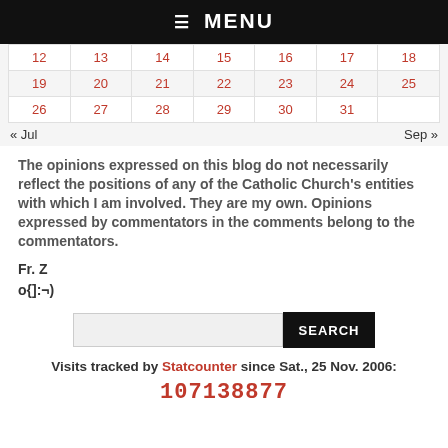☰ MENU
| 12 | 13 | 14 | 15 | 16 | 17 | 18 |
| 19 | 20 | 21 | 22 | 23 | 24 | 25 |
| 26 | 27 | 28 | 29 | 30 | 31 |  |
« Jul   Sep »
The opinions expressed on this blog do not necessarily reflect the positions of any of the Catholic Church's entities with which I am involved. They are my own. Opinions expressed by commentators in the comments belong to the commentators.
Fr. Z
o{]:¬)
SEARCH
Visits tracked by Statcounter since Sat., 25 Nov. 2006:
107138877